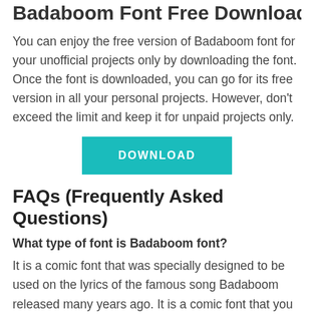Badaboom Font Free Download
You can enjoy the free version of Badaboom font for your unofficial projects only by downloading the font. Once the font is downloaded, you can go for its free version in all your personal projects. However, don't exceed the limit and keep it for unpaid projects only.
[Figure (other): Teal/turquoise download button with white uppercase text reading DOWNLOAD]
FAQs (Frequently Asked Questions)
What type of font is Badaboom font?
It is a comic font that was specially designed to be used on the lyrics of the famous song Badaboom released many years ago. It is a comic font that you can consider using on such platforms and sites. Furthermore, you can